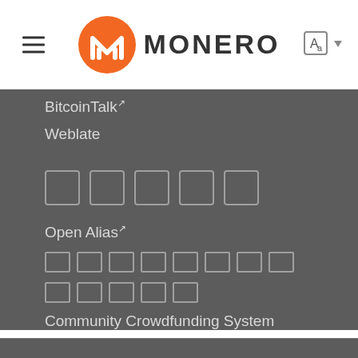[Figure (logo): Monero logo with orange circular icon and MONERO text]
BitcoinTalk [external link]
Weblate
[Figure (other): Five square icon placeholders in a row]
Open Alias [external link]
[placeholder boxes - 8 boxes]
[placeholder boxes - 5 boxes]
Community Crowdfunding System
Tor Onion Service   Legal   Source Code [external link]   Sitemap   RSS Feed